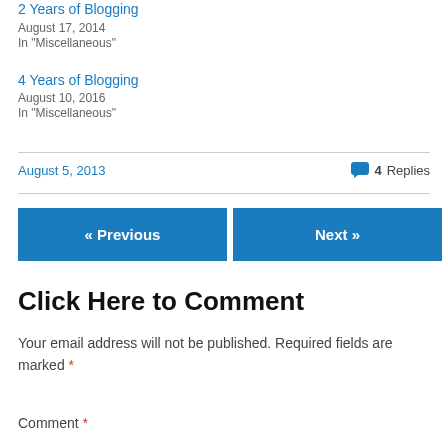4 Years of Blogging
August 17, 2014
In "Miscellaneous"
4 Years of Blogging
August 10, 2016
In "Miscellaneous"
August 5, 2013
4 Replies
« Previous
Next »
Click Here to Comment
Your email address will not be published. Required fields are marked *
Comment *